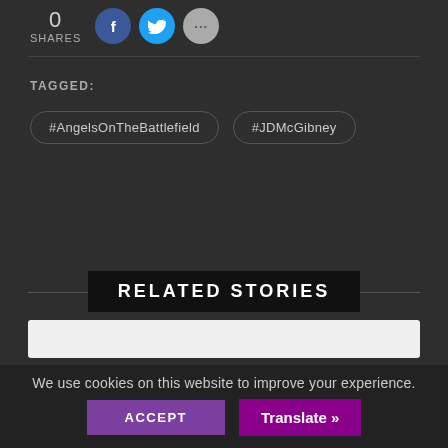0 SHARES
TAGGED:
#AngelsOnTheBattlefield
#JDMcGibney
RELATED STORIES
We use cookies on this website to improve your experience.
ACCEPT
Translate »